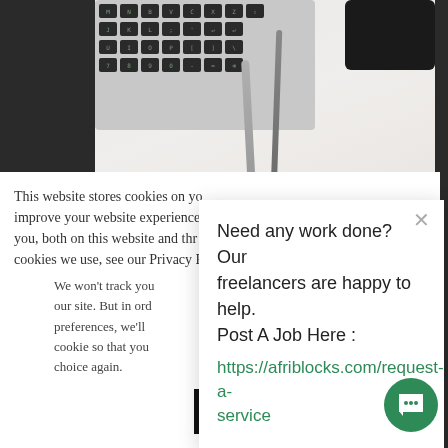[Figure (photo): Desk flatlay photo showing a laptop keyboard, two pens/pencils, a pink sticky note, and a dark smartphone on a light/white surface background.]
This website stores cookies on yo... improve your website experience ... you, both on this website and thro... cookies we use, see our Privacy P...
We won't track you... our site. But in ord... preferences, we'll ... cookie so that you... choice again.
Need any work done? Our freelancers are happy to help. Post A Job Here : https://afriblocks.com/request-a-service
Accept
Decline